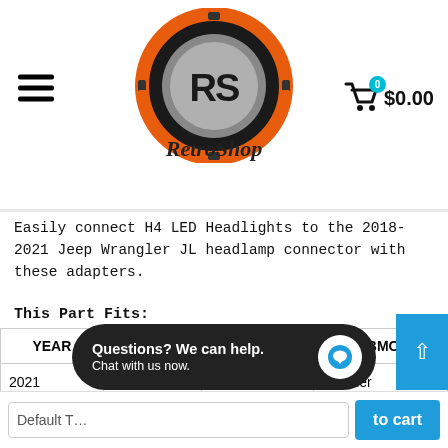RetroShop — hamburger menu, logo, cart $0.00
Easily connect H4 LED Headlights to the 2018-2021 Jeep Wrangler JL headlamp connector with these adapters.
This Part Fits:
| YEAR | MAKE | MODEL | SUBMODEL |
| --- | --- | --- | --- |
| 2021 | Jeep | Wrangler | Islander |
| 2018-2022 | Jeep | Wrangler | Rubic… |
Questions? We can help. Chat with us now.
Default T… | to cart